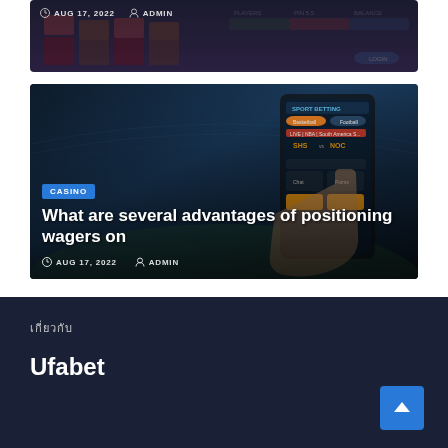[Figure (screenshot): Dark-themed website card with clock icon, AUG 17 2022 date and ADMIN user meta info on dark background]
[Figure (photo): Sports betting app screenshot on phone held against stadium background with CASINO tag, article title 'What are several advantages of positioning wagers on', date AUG 17 2022 and ADMIN]
CASINO
What are several advantages of positioning wagers on
AUG 17, 2022  ADMIN
เกี่ยวกับ
Ufabet